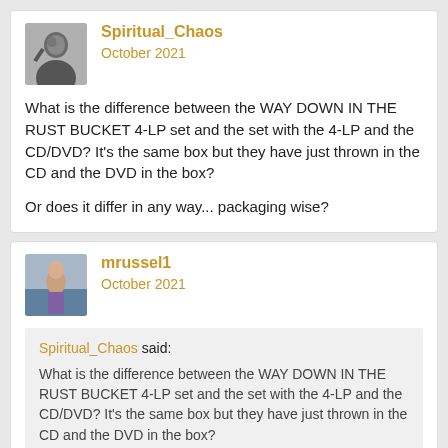[Figure (photo): Avatar image of user Spiritual_Chaos, black and white photo of a person]
Spiritual_Chaos
October 2021
What is the difference between the WAY DOWN IN THE RUST BUCKET 4-LP set and the set with the 4-LP and the CD/DVD? It's the same box but they have just thrown in the CD and the DVD in the box?

Or does it differ in any way... packaging wise?
[Figure (photo): Avatar image of user mrussel1, photo of a person standing outdoors]
mrussel1
October 2021
Spiritual_Chaos said: What is the difference between the WAY DOWN IN THE RUST BUCKET 4-LP set and the set with the 4-LP and the CD/DVD? It's the same box but they have just thrown in the CD and the DVD in the box?

Or does it differ in any way... packaging wise?